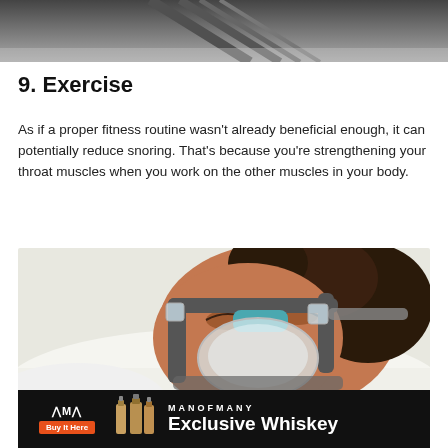[Figure (photo): Partial gym/exercise equipment photo at top of page, dark tones]
9. Exercise
As if a proper fitness routine wasn't already beneficial enough, it can potentially reduce snoring. That's because you're strengthening your throat muscles when you work on the other muscles in your body.
[Figure (photo): Person sleeping while wearing a CPAP mask with clear face mask and dark straps on white pillow]
[Figure (other): Man of Many advertisement banner — logo, Buy It Here button, whiskey bottles, MANOFMANY Exclusive Whiskey text]